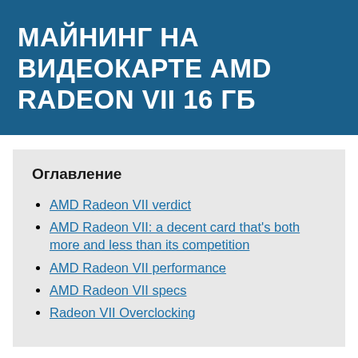МАЙНИНГ НА ВИДЕОКАРТЕ AMD RADEON VII 16 ГБ
Оглавление
AMD Radeon VII verdict
AMD Radeon VII: a decent card that's both more and less than its competition
AMD Radeon VII performance
AMD Radeon VII specs
Radeon VII Overclocking